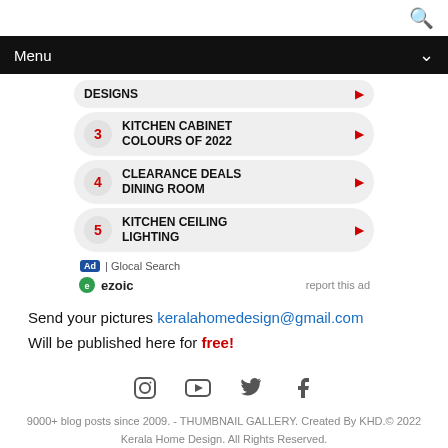Menu
[Figure (screenshot): Numbered ad widget list showing items: DESIGNS, 3 KITCHEN CABINET COLOURS OF 2022, 4 CLEARANCE DEALS DINING ROOM, 5 KITCHEN CEILING LIGHTING. Ad label shows '| Glocal Search'.]
ezoic   report this ad
Send your pictures keralahomedesign@gmail.com
Will be published here for free!
[Figure (infographic): Social media icons: Instagram, YouTube, Twitter, Facebook]
9000+ blog posts since 2009. - THUMBNAIL GALLERY. Created By KHD.© 2022 Kerala Home Design. All Rights Reserved.